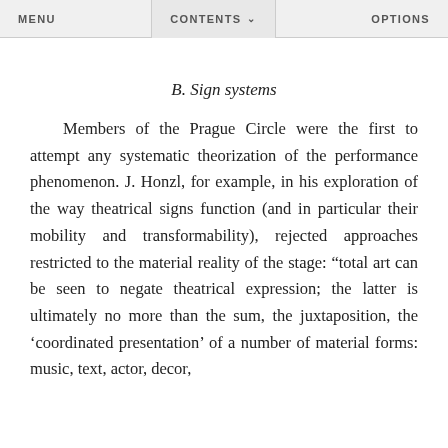MENU   CONTENTS   OPTIONS
(partial/cropped text from previous page)
B. Sign systems
Members of the Prague Circle were the first to attempt any systematic theorization of the performance phenomenon. J. Honzl, for example, in his exploration of the way theatrical signs function (and in particular their mobility and transformability), rejected approaches restricted to the material reality of the stage: “total art can be seen to negate theatrical expression; the latter is ultimately no more than the sum, the juxtaposition, the ‘coordinated presentation’ of a number of material forms: music, text, actor, decor,